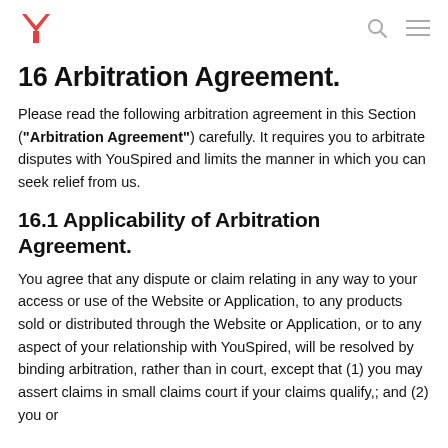YouSpired logo, search icon, menu icon
16 Arbitration Agreement.
Please read the following arbitration agreement in this Section (“Arbitration Agreement”) carefully. It requires you to arbitrate disputes with YouSpired and limits the manner in which you can seek relief from us.
16.1 Applicability of Arbitration Agreement.
You agree that any dispute or claim relating in any way to your access or use of the Website or Application, to any products sold or distributed through the Website or Application, or to any aspect of your relationship with YouSpired, will be resolved by binding arbitration, rather than in court, except that (1) you may assert claims in small claims court if your claims qualify,; and (2) you or